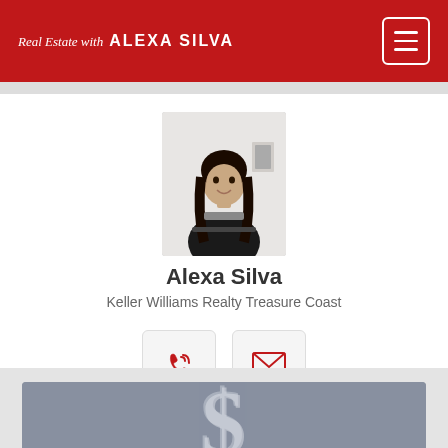Real Estate with ALEXA SILVA
[Figure (photo): Professional photo of Alexa Silva, a woman with dark hair wearing a black outfit, holding a folder, standing against a light background]
Alexa Silva
Keller Williams Realty Treasure Coast
[Figure (infographic): Two contact buttons: a phone/call icon button and an email/envelope icon button, both with light gray borders on white/light gray background]
[Figure (photo): Bottom portion showing a dollar sign symbol in metallic/silver 3D style against a gray background]